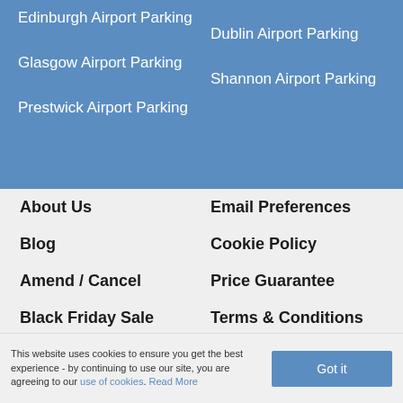Edinburgh Airport Parking
Dublin Airport Parking
Glasgow Airport Parking
Shannon Airport Parking
Prestwick Airport Parking
About Us
Email Preferences
Blog
Cookie Policy
Amend / Cancel
Price Guarantee
Black Friday Sale
Terms & Conditions
Contact Us
FAQs
This website uses cookies to ensure you get the best experience - by continuing to use our site, you are agreeing to our use of cookies. Read More